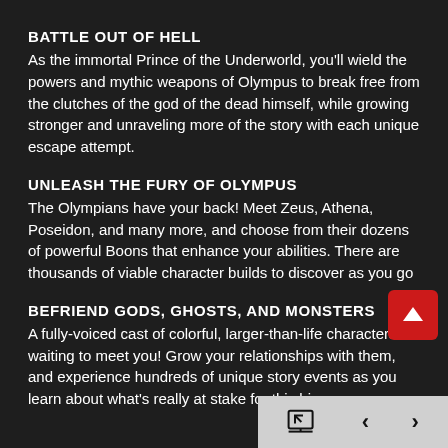BATTLE OUT OF HELL
As the immortal Prince of the Underworld, you'll wield the powers and mythic weapons of Olympus to break free from the clutches of the god of the dead himself, while growing stronger and unraveling more of the story with each unique escape attempt.
UNLEASH THE FURY OF OLYMPUS
The Olympians have your back! Meet Zeus, Athena, Poseidon, and many more, and choose from their dozens of powerful Boons that enhance your abilities. There are thousands of viable character builds to discover as you go
BEFRIEND GODS, GHOSTS, AND MONSTERS
A fully-voiced cast of colorful, larger-than-life characters is waiting to meet you! Grow your relationships with them, and experience hundreds of unique story events as you learn about what's really at stake for this big,